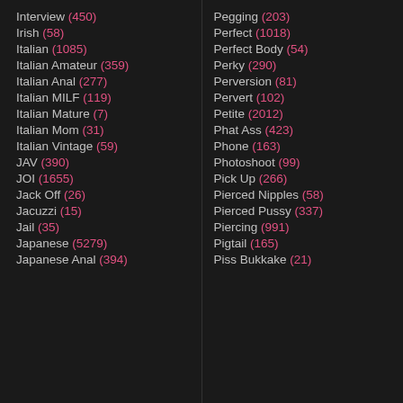Interview (450)
Irish (58)
Italian (1085)
Italian Amateur (359)
Italian Anal (277)
Italian MILF (119)
Italian Mature (7)
Italian Mom (31)
Italian Vintage (59)
JAV (390)
JOI (1655)
Jack Off (26)
Jacuzzi (15)
Jail (35)
Japanese (5279)
Japanese Anal (394)
Pegging (203)
Perfect (1018)
Perfect Body (54)
Perky (290)
Perversion (81)
Pervert (102)
Petite (2012)
Phat Ass (423)
Phone (163)
Photoshoot (99)
Pick Up (266)
Pierced Nipples (58)
Pierced Pussy (337)
Piercing (991)
Pigtail (165)
Piss Bukkake (21)